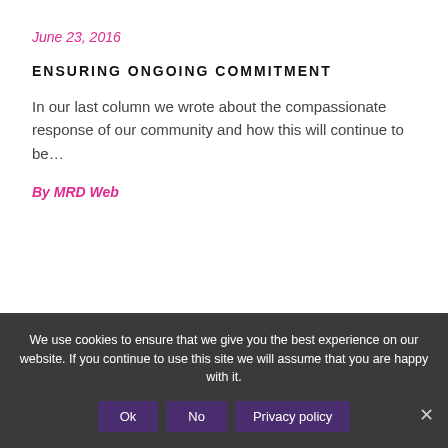June 23, 2016
ENSURING ONGOING COMMITMENT
In our last column we wrote about the compassionate response of our community and how this will continue to be…
By MRD Web
We use cookies to ensure that we give you the best experience on our website. If you continue to use this site we will assume that you are happy with it.